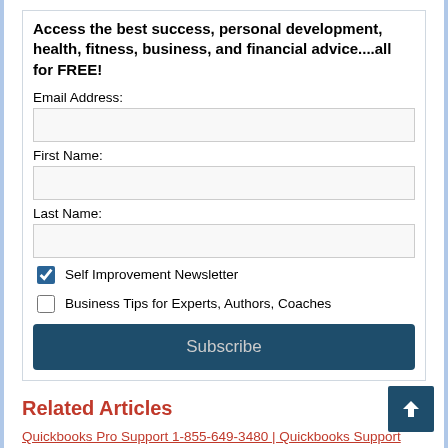Access the best success, personal development, health, fitness, business, and financial advice....all for FREE!
Email Address:
First Name:
Last Name:
Self Improvement Newsletter (checked)
Business Tips for Experts, Authors, Coaches (unchecked)
Subscribe
Related Articles
Quickbooks Pro Support 1-855-649-3480 | Quickbooks Support Phone Number
Personal responsibility includes turning yourself on
The easiest way to invest in your relationship